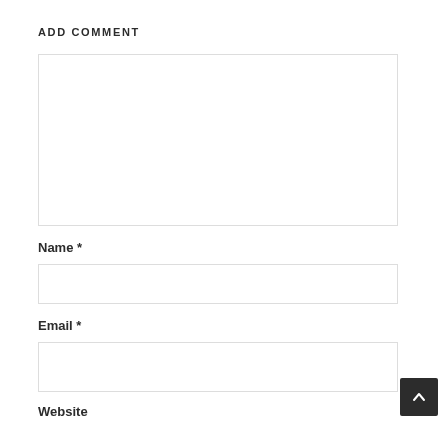ADD COMMENT
[Figure (other): Large text area input box for comment]
Name *
[Figure (other): Input box for Name field]
Email *
[Figure (other): Input box for Email field]
Website